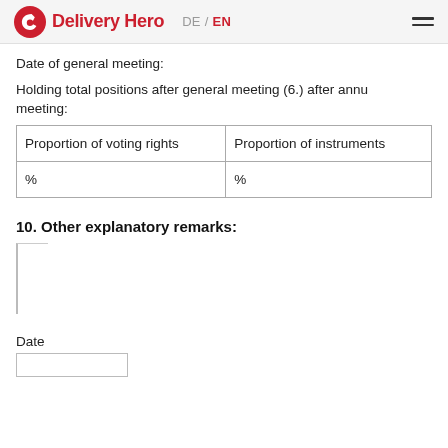Delivery Hero  DE / EN
Date of general meeting:
Holding total positions after general meeting (6.) after annual meeting:
| Proportion of voting rights | Proportion of instruments |
| --- | --- |
| % | % |
10. Other explanatory remarks:
Date